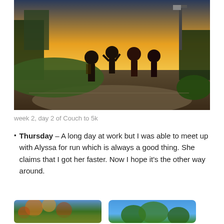[Figure (photo): Group of people running/walking on a path at sunset/dusk, silhouetted against a golden sky with trees and a street lamp visible]
week 2, day 2 of Couch to 5k
Thursday – A long day at work but I was able to meet up with Alyssa for run which is always a good thing. She claims that I got her faster. Now I hope it's the other way around.
[Figure (photo): Outdoor photo with autumn leaves and blue sky, left thumbnail]
[Figure (photo): Outdoor photo with trees and blue sky, right thumbnail]